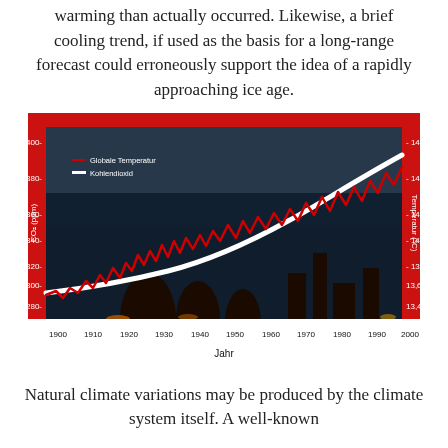warming than actually occurred. Likewise, a brief cooling trend, if used as the basis for a long-range forecast could erroneously support the idea of a rapidly approaching ice age.
[Figure (continuous-plot): A chart overlaid on a photograph of an industrial power plant with cooling towers emitting smoke. Shows two trend lines from 1900 to 2000: a red jagged line labeled 'Globale Temperatur' and a white smooth rising curve labeled 'Kohlendioxid'. Left y-axis shows CO2 (ppm) from 280 to 400; right y-axis shows Temperatur (°C) from 13.4 to 14.6. X-axis labeled 'Jahr' with decades from 1900 to 2000. Background is dark blue (lower half) and red (upper/side bands).]
Natural climate variations may be produced by the climate system itself. A well-known